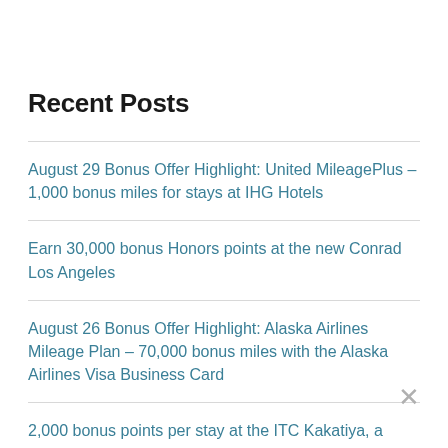Recent Posts
August 29 Bonus Offer Highlight: United MileagePlus – 1,000 bonus miles for stays at IHG Hotels
Earn 30,000 bonus Honors points at the new Conrad Los Angeles
August 26 Bonus Offer Highlight: Alaska Airlines Mileage Plan – 70,000 bonus miles with the Alaska Airlines Visa Business Card
2,000 bonus points per stay at the ITC Kakatiya, a Luxury Collection Hotel, Hyderabad
$350 cash back welcome bonus on the Blue Cash